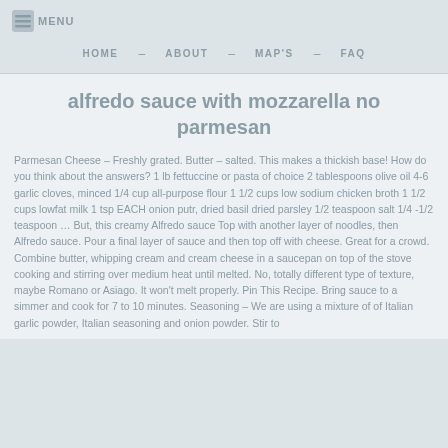MENU
HOME   ABOUT   MAP'S   FAQ
alfredo sauce with mozzarella no parmesan
Parmesan Cheese – Freshly grated. Butter – salted. This makes a thickish base! How do you think about the answers? 1 lb fettuccine or pasta of choice 2 tablespoons olive oil 4-6 garlic cloves, minced 1/4 cup all-purpose flour 1 1/2 cups low sodium chicken broth 1 1/2 cups lowfat milk 1 tsp EACH onion putr, dried basil dried parsley 1/2 teaspoon salt 1/4 -1/2 teaspoon … But, this creamy Alfredo sauce Top with another layer of noodles, then Alfredo sauce. Pour a final layer of sauce and then top off with cheese. Great for a crowd. Combine butter, whipping cream and cream cheese in a saucepan on top of the stove cooking and stirring over medium heat until melted. No, totally different type of texture, maybe Romano or Asiago. It won't melt properly. Pin This Recipe. Bring sauce to a simmer and cook for 7 to 10 minutes. Seasoning – We are using a mixture of of Italian garlic powder, Italian seasoning and onion powder. Stir to